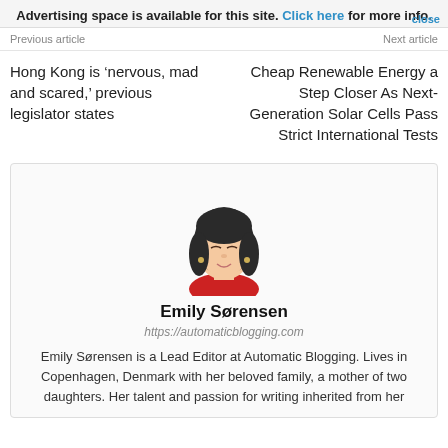Advertising space is available for this site. Click here for more info. close
Previous article    Next article
Hong Kong is ‘nervous, mad and scared,’ previous legislator states
Cheap Renewable Energy a Step Closer As Next-Generation Solar Cells Pass Strict International Tests
[Figure (illustration): Cartoon avatar illustration of a woman with black bob hair, closed eyes, light skin, wearing a red top]
Emily Sørensen
https://automaticblogging.com
Emily Sørensen is a Lead Editor at Automatic Blogging. Lives in Copenhagen, Denmark with her beloved family, a mother of two daughters. Her talent and passion for writing inherited from her